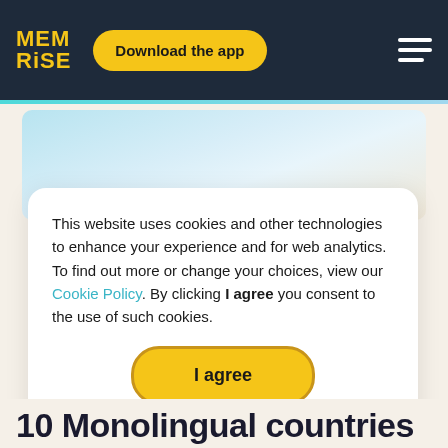MEM RiSE — Download the app
[Figure (screenshot): Memrise website header with dark navy background, yellow MEM RiSE logo, yellow 'Download the app' pill button, and white hamburger menu icon on the right]
[Figure (photo): Light blue and white gradient hero banner image area]
This website uses cookies and other technologies to enhance your experience and for web analytics. To find out more or change your choices, view our Cookie Policy. By clicking I agree you consent to the use of such cookies.
I agree
10 Monolingual countries